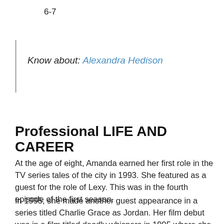6-7
Know about: Alexandra Hedison
Professional LIFE AND CAREER
At the age of eight, Amanda earned her first role in the TV series tales of the city in 1993. She featured as a guest for the role of Lexy. This was in the fourth episode of the first season.
In 1995, she made another guest appearance in a series titled Charlie Grace as Jordan. Her film debut was in a film titled deadly whispers in 1995 where she played as